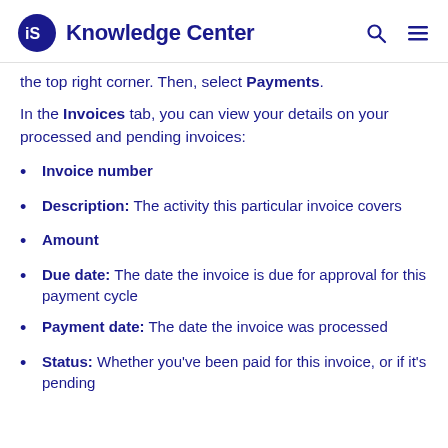iS Knowledge Center
the top right corner. Then, select Payments.
In the Invoices tab, you can view your details on your processed and pending invoices:
Invoice number
Description: The activity this particular invoice covers
Amount
Due date: The date the invoice is due for approval for this payment cycle
Payment date: The date the invoice was processed
Status: Whether you've been paid for this invoice, or if it's pending